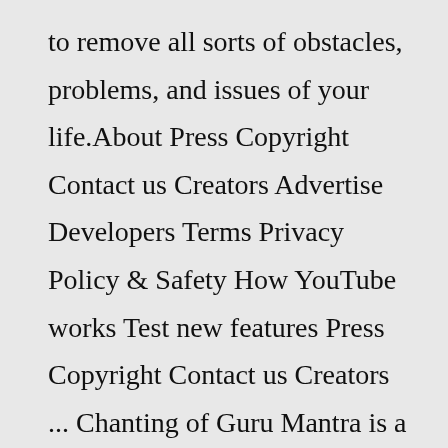to remove all sorts of obstacles, problems, and issues of your life.About Press Copyright Contact us Creators Advertise Developers Terms Privacy Policy & Safety How YouTube works Test new features Press Copyright Contact us Creators ... Chanting of Guru Mantra is a very good and easy way to appease your planets, however; a correct pronunciation is a must Durga Puja special: 5 secrets about Black Magic